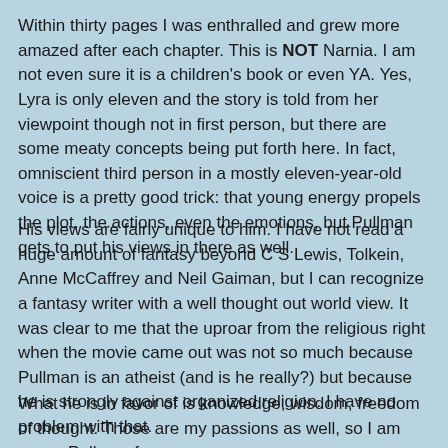Within thirty pages I was enthralled and grew more amazed after each chapter. This is NOT Narnia. I am not even sure it is a children's book or even YA. Yes, Lyra is only eleven and the story is told from her viewpoint though not in first person, but there are some meaty concepts being put forth here. In fact, omniscient third person in a mostly eleven-year-old voice is a pretty good trick: that young energy propels the plot, the actions, even the emotions, but Pullman gets to put his views in there as well.
His views are fairly unique to him. I have not read a huge amount of fantasy beyond C S Lewis, Tolkein, Anne McCaffrey and Neil Gaiman, but I can recognize a fantasy writer with a well thought out world view. It was clear to me that the uproar from the religious right when the movie came out was not so much because Pullman is an atheist (and is he really?) but because he is strongly against organized religion. I have no problem with that.
What he is in favor of is knowledge, wisdom, freedom of thought. Those are my passions as well, so I am now a Pullman fan.